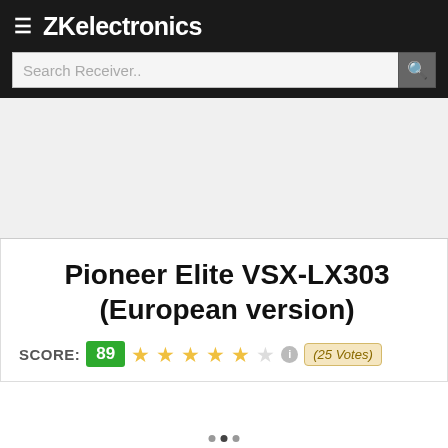ZKelectronics
Search Receiver..
Pioneer Elite VSX-LX303 (European version)
SCORE: 89  ★★★★★☆ (i) (25 Votes)